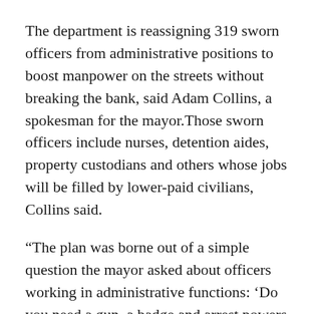The department is reassigning 319 sworn officers from administrative positions to boost manpower on the streets without breaking the bank, said Adam Collins, a spokesman for the mayor.Those sworn officers include nurses, detention aides, property custodians and others whose jobs will be filled by lower-paid civilians, Collins said.
“The plan was borne out of a simple question the mayor asked about officers working in administrative functions: ‘Do you need a gun, a badge and arrest powers to do this job?’ ” Collins said.
“If the answer is no, the officers will be replaced with civilians and deployed into neighborhoods, policing our streets and fighting gun violence, which is how they